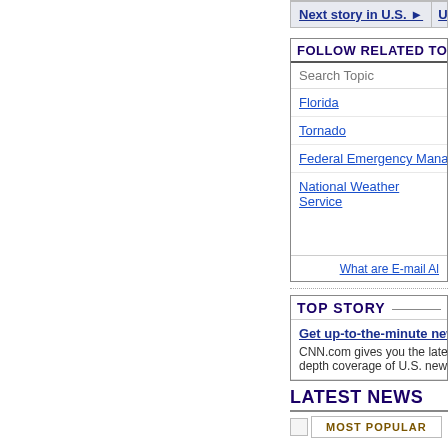Next story in U.S. ▶  |  U.S.
FOLLOW RELATED TOPICS
Search Topic
Florida
Tornado
Federal Emergency Management
National Weather Service
What are E-mail Al
TOP STORY
Get up-to-the-minute news fr
CNN.com gives you the latest s depth coverage of U.S. news, p
LATEST NEWS
MOST POPULAR